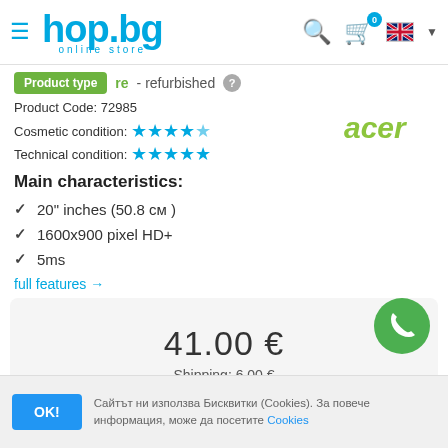hop.bg online store
Product type   re - refurbished
Product Code: 72985
Cosmetic condition: ★★★★½
Technical condition: ★★★★★
[Figure (logo): Acer logo in green italic text]
Main characteristics:
20" inches (50.8 см )
1600x900 pixel HD+
5ms
full features →
41.00 €
Shipping: 6.00 €
Сайтът ни използва Бисквитки (Cookies). За повече информация, може да посетите Cookies